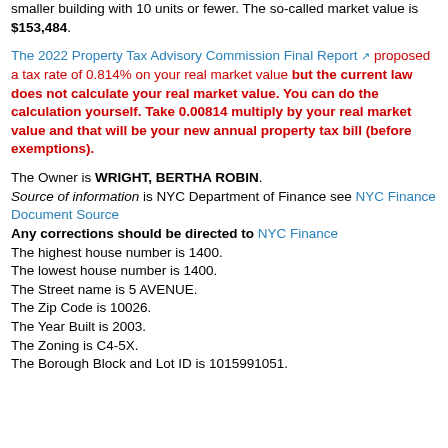smaller building with 10 units or fewer. The so-called market value is $153,484.
The 2022 Property Tax Advisory Commission Final Report [link] proposed a tax rate of 0.814% on your real market value but the current law does not calculate your real market value. You can do the calculation yourself. Take 0.00814 multiply by your real market value and that will be your new annual property tax bill (before exemptions).
The Owner is WRIGHT, BERTHA ROBIN. Source of information is NYC Department of Finance see NYC Finance Document Source Any corrections should be directed to NYC Finance The highest house number is 1400. The lowest house number is 1400. The Street name is 5 AVENUE. The Zip Code is 10026. The Year Built is 2003. The Zoning is C4-5X. The Borough Block and Lot ID is 1015991051.